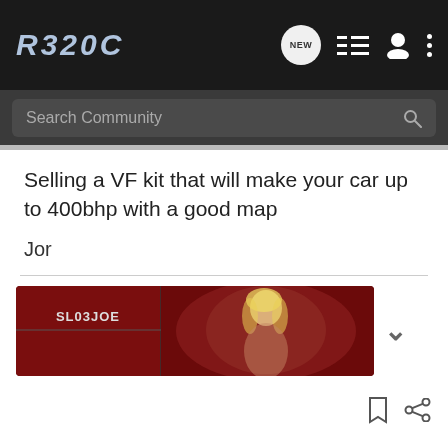R320C
Search Community
Selling a VF kit that will make your car up to 400bhp with a good map
Jor
[Figure (photo): User banner image for SL03JOE — dark red background with a blonde woman; the left panel shows 'SL03JOE' text on a dark red grid background]